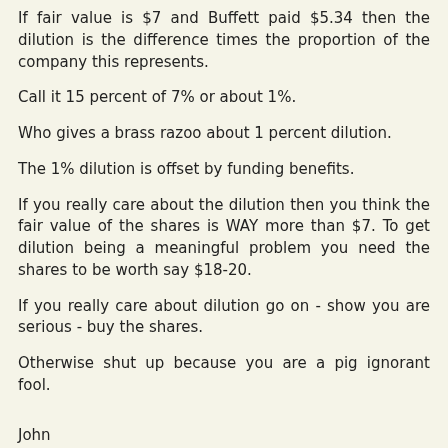If fair value is $7 and Buffett paid $5.34 then the dilution is the difference times the proportion of the company this represents.
Call it 15 percent of 7% or about 1%.
Who gives a brass razoo about 1 percent dilution.
The 1% dilution is offset by funding benefits.
If you really care about the dilution then you think the fair value of the shares is WAY more than $7. To get dilution being a meaningful problem you need the shares to be worth say $18-20.
If you really care about dilution go on - show you are serious - buy the shares.
Otherwise shut up because you are a pig ignorant fool.
John